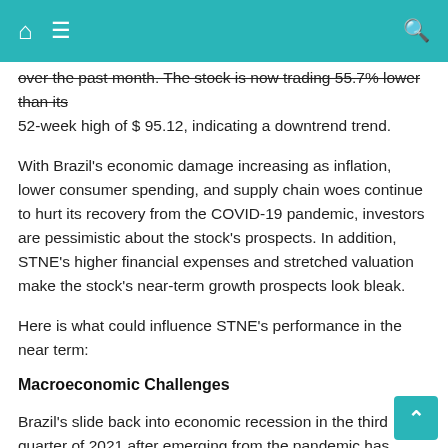[navigation bar with home, menu, and search icons]
over the past month. The stock is now trading 55.7% lower than its 52-week high of $ 95.12, indicating a downtrend trend.
With Brazil's economic damage increasing as inflation, lower consumer spending, and supply chain woes continue to hurt its recovery from the COVID-19 pandemic, investors are pessimistic about the stock's prospects. In addition, STNE's higher financial expenses and stretched valuation make the stock's near-term growth prospects look bleak.
Here is what could influence STNE's performance in the near term:
Macroeconomic Challenges
Brazil's slide back into economic recession in the third quarter of 2021 after emerging from the pandemic has fostered more volatility in the market. Recently, Felipe Guerra, a founding partner at hedge fund manager Legacy Capital, said, "The outlook for emerging markets is